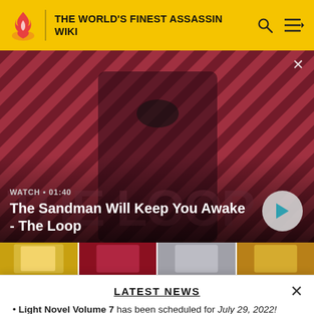THE WORLD'S FINEST ASSASSIN WIKI
[Figure (screenshot): Video thumbnail banner showing a dark-robed figure with a crow on shoulder against red and dark diagonal striped background. Text reads WATCH · 01:40 and The Sandman Will Keep You Awake - The Loop with a play button.]
[Figure (photo): Horizontal strip of four anime thumbnail images]
LATEST NEWS
• Light Novel Volume 7 has been scheduled for July 29, 2022!
READ MORE